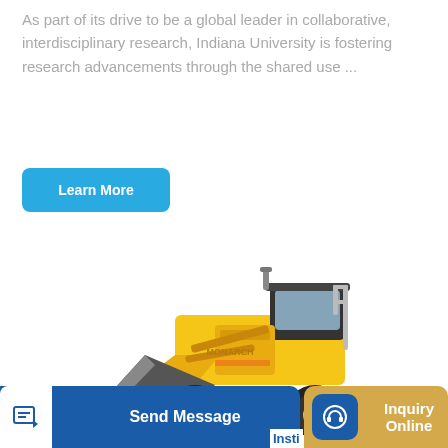As part of its drive to be a global leader in collaborative, interdisciplinary research, Indiana University is fostering research advancements through the shared use ...
Learn More
[Figure (photo): Yellow wheel loader / front-end loader construction vehicle (MONARCH brand) with large black tires and a large gray bucket/scoop in front, photographed on white background]
Send Message
Insti
Inquiry Online